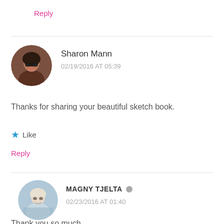Reply
[Figure (photo): Circular avatar photo of Sharon Mann, a woman with glasses and dark hair]
Sharon Mann
02/19/2016 AT 05:39
Thanks for sharing your beautiful sketch book.
★ Like
Reply
[Figure (photo): Circular avatar photo of Magny Tjelta, a woman with light hair]
MAGNY TJELTA
02/23/2016 AT 01:40
Thank you so much